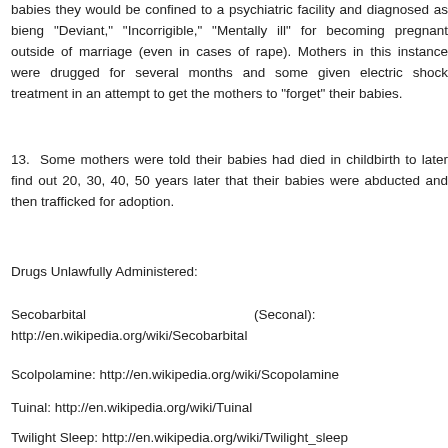babies they would be confined to a psychiatric facility and diagnosed as bieng "Deviant," "Incorrigible," "Mentally ill" for becoming pregnant outside of marriage (even in cases of rape). Mothers in this instance were drugged for several months and some given electric shock treatment in an attempt to get the mothers to "forget" their babies.
13.  Some mothers were told their babies had died in childbirth to later find out 20, 30, 40, 50 years later that their babies were abducted and then trafficked for adoption.
Drugs Unlawfully Administered:
Secobarbital                                                    (Seconal): http://en.wikipedia.org/wiki/Secobarbital
Scolpolamine: http://en.wikipedia.org/wiki/Scopolamine
Tuinal: http://en.wikipedia.org/wiki/Tuinal
Twilight Sleep: http://en.wikipedia.org/wiki/Twilight_sleep
Parlodel              aka              Bromocriptine: